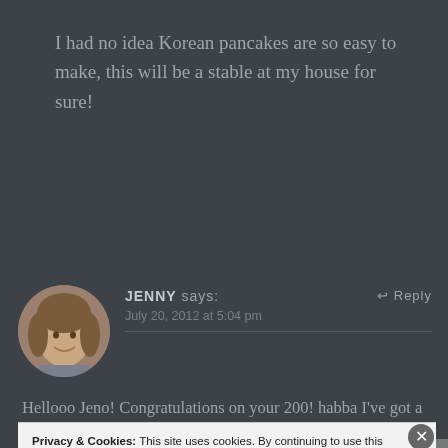I had no idea Korean pancakes are so easy to make, this will be a stable at my house for sure!
[Figure (photo): Circular avatar photo of a woman named Jenny with brown hair, smiling]
JENNY says: ↩ Reply
July 20, 2012 at 5:04 pm
Hellooo Jeno! Congratulations on your 200! habba I've got a long way to
Privacy & Cookies: This site uses cookies. By continuing to use this website, you agree to their use.
To find out more, including how to control cookies, see here: Cookie Policy
Close and accept